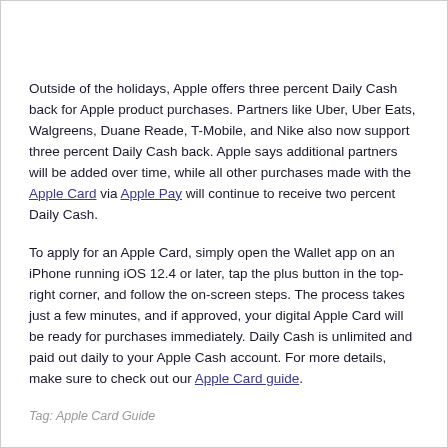Outside of the holidays, Apple offers three percent Daily Cash back for Apple product purchases. Partners like Uber, Uber Eats, Walgreens, Duane Reade, T-Mobile, and Nike also now support three percent Daily Cash back. Apple says additional partners will be added over time, while all other purchases made with the Apple Card via Apple Pay will continue to receive two percent Daily Cash.
To apply for an Apple Card, simply open the Wallet app on an iPhone running iOS 12.4 or later, tap the plus button in the top-right corner, and follow the on-screen steps. The process takes just a few minutes, and if approved, your digital Apple Card will be ready for purchases immediately. Daily Cash is unlimited and paid out daily to your Apple Cash account. For more details, make sure to check out our Apple Card guide.
Tag: Apple Card Guide